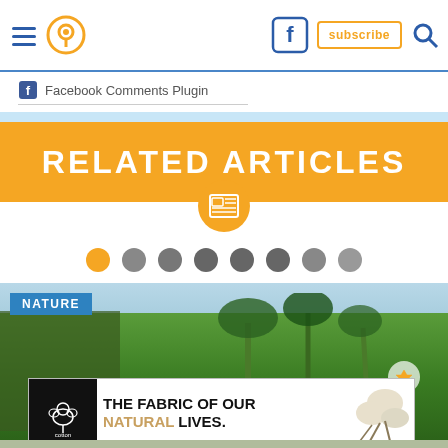Navigation header with hamburger menu, location pin icon, Facebook icon, subscribe button, and search icon
Facebook Comments Plugin
RELATED ARTICLES
[Figure (screenshot): Nature photo showing tropical trees and palm trees with a NATURE category label in blue, followed by a cotton advertisement reading THE FABRIC OF OUR NATURAL LIVES.]